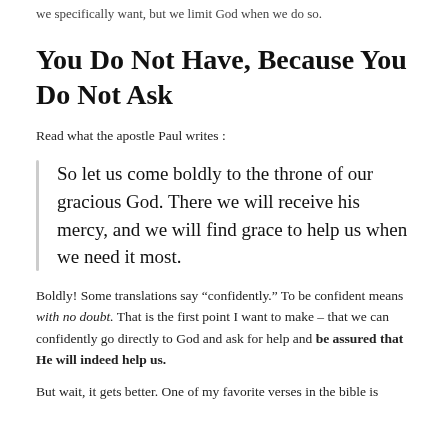we specifically want, but we limit God when we do so.
You Do Not Have, Because You Do Not Ask
Read what the apostle Paul writes :
So let us come boldly to the throne of our gracious God. There we will receive his mercy, and we will find grace to help us when we need it most.
Boldly! Some translations say “confidently.” To be confident means with no doubt. That is the first point I want to make – that we can confidently go directly to God and ask for help and be assured that He will indeed help us.
But wait, it gets better. One of my favorite verses in the bible is